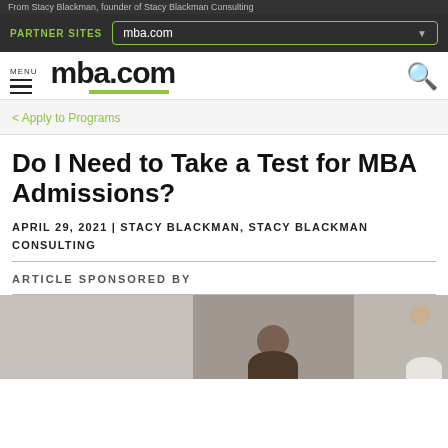From Stacy Blackman, founder of Stacy Blackman Consulting
PARTNER SITES | mba.com
MENU mba.com
< Apply to Programs
Do I Need to Take a Test for MBA Admissions?
APRIL 29, 2021 | STACY BLACKMAN, STACY BLACKMAN CONSULTING
ARTICLE SPONSORED BY
[Figure (photo): Photo strip showing two people, one with dark hair in center and one with lighter hair on right side]